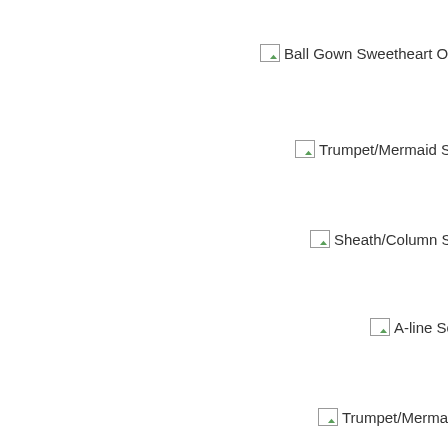Ball Gown Sweetheart Organza Satin Cha
Trumpet/Mermaid Scoop Lace Tulle C
Sheath/Column Sweetheart Tulle Sw
A-line Scoop Satin Chapel Tr
Trumpet/Mermaid V-neck Chiffon
Ball Gown One Shoulder Tulle Sw
Princess Strapless Lace Tulle Swee
Princess Strapless Tulle Floor-length
Trumpet/Mermaid High Neck Tulle Lace
Sheath/Column Scoop Lace Short/